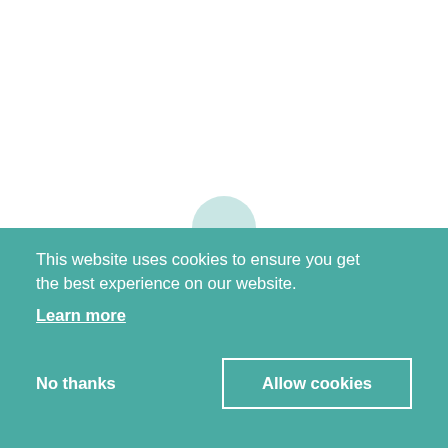[Figure (illustration): White background upper area with a faint teal/mint circle partially visible at the boundary of the cookie banner, suggesting a background webpage element.]
This website uses cookies to ensure you get the best experience on our website.
Learn more
No thanks
Allow cookies